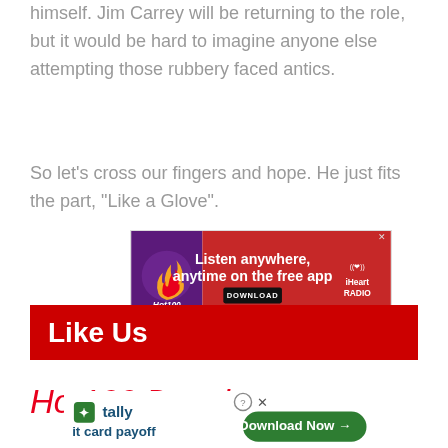himself. Jim Carrey will be returning to the role, but it would be hard to imagine anyone else attempting those rubbery faced antics.
So let's cross our fingers and hope. He just fits the part, "Like a Glove".
[Figure (screenshot): iHeart Radio advertisement banner: Listen anywhere, anytime on the free app. Download button. Hot 100 and iHeartRadio logos visible.]
Like Us
Hot 100 Darwin
[Figure (screenshot): Tally app advertisement: Fast credit card payoff. Download Now button. Help and close icons.]